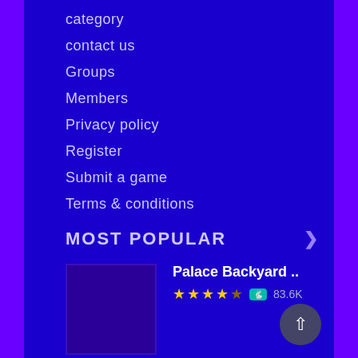category
contact us
Groups
Members
Privacy policy
Register
Submit a game
Terms & conditions
MOST POPULAR
Palace Backyard .. ★★★★☆ 83.6K
Palace Backyard .. ★★★★☆ 83.6K
Palace Backyard ..